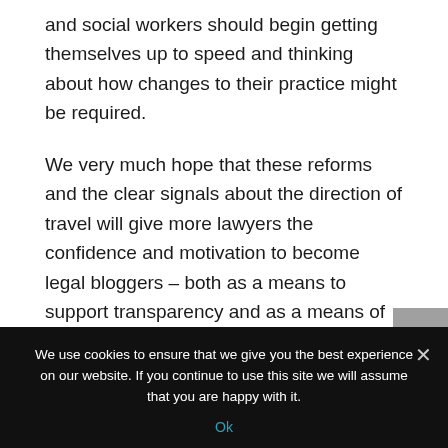and social workers should begin getting themselves up to speed and thinking about how changes to their practice might be required.
We very much hope that these reforms and the clear signals about the direction of travel will give more lawyers the confidence and motivation to become legal bloggers – both as a means to support transparency and as a means of personal professional development. More information about legal blogging can be found here.
We use cookies to ensure that we give you the best experience on our website. If you continue to use this site we will assume that you are happy with it.
Ok